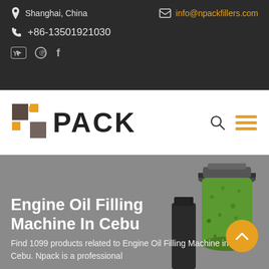Shanghai, China | info@npackfillers.com | +86-13501921030
[Figure (logo): NPACK company logo with colored squares and bold text]
Engine Oil Filling Machine In Cebu
Find 1099 products related to Engine Oil Filling Machine in Cebu. Npack is a professional